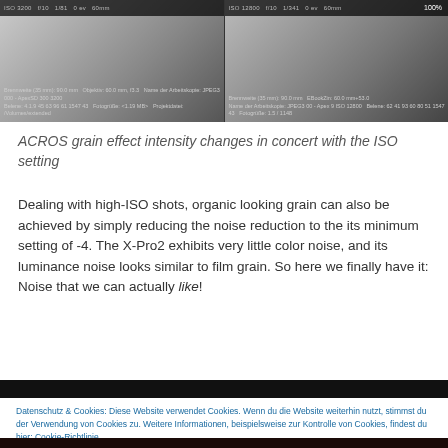[Figure (photo): Two side-by-side black and white photographs showing a curved/swooping form, with camera metadata displayed in a dark bar at the bottom. Left image labeled ISO 3200, right labeled ISO 12800.]
ACROS grain effect intensity changes in concert with the ISO setting
Dealing with high-ISO shots, organic looking grain can also be achieved by simply reducing the noise reduction to the its minimum setting of -4. The X-Pro2 exhibits very little color noise, and its luminance noise looks similar to film grain. So here we finally have it: Noise that we can actually like!
Datenschutz & Cookies: Diese Website verwendet Cookies. Wenn du die Website weiterhin nutzt, stimmst du der Verwendung von Cookies zu. Weitere Informationen, beispielsweise zur Kontrolle von Cookies, findest du hier: Cookie-Richtlinie
[Figure (photo): Dark image visible at the very bottom of the page, appears to be a dimly lit scene.]